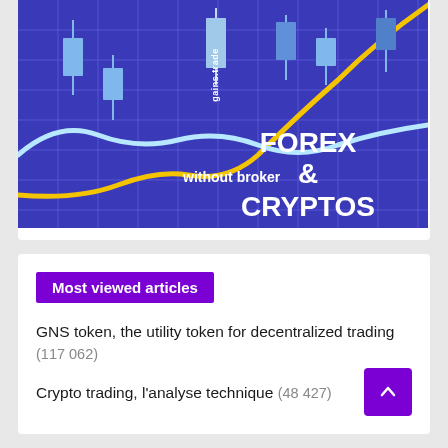[Figure (illustration): Banner image for gains.trade showing candlestick chart on blue background with yellow and light blue curves, text 'FOREX & CRYPTOS' and 'without broker' on blue background]
Most viewed articles
GNS token, the utility token for decentralized trading (117 062)
Crypto trading, l'analyse technique (48 427)